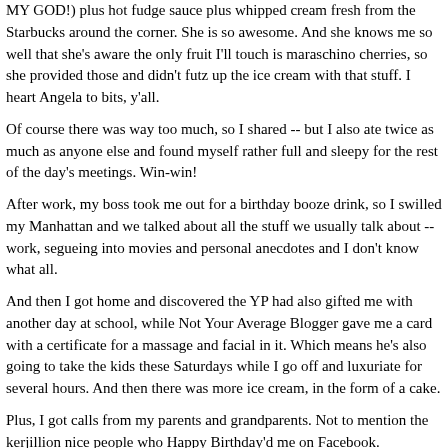MY GOD!) plus hot fudge sauce plus whipped cream fresh from the Starbucks around the corner.  She is so awesome.  And she knows me so well that she's aware the only fruit I'll touch is maraschino cherries, so she provided those and didn't futz up the ice cream with that stuff.  I heart Angela to bits, y'all.
Of course there was way too much, so I shared -- but I also ate twice as much as anyone else and found myself rather full and sleepy for the rest of the day's meetings.  Win-win!
After work, my boss took me out for a birthday booze drink, so I swilled my Manhattan and we talked about all the stuff we usually talk about -- work, segueing into movies and personal anecdotes and I don't know what all.
And then I got home and discovered the YP had also gifted me with another day at school, while Not Your Average Blogger gave me a card with a certificate for a massage and facial in it.  Which means he's also going to take the kids these Saturdays while I go off and luxuriate for several hours. And then there was more ice cream, in the form of a cake.
Plus, I got calls from my parents and grandparents. Not to mention the kerjillion nice people who Happy Birthday'd me on Facebook.
And as if all that weren't enough, today I am taking the day off work and we're going to Opening Day for the Nats.  It is currently 37 degrees and threatening rain. It is going to be a miserable weather. But it is a ballgame, the first ballgame for 2011, and spirits are high even if the temps aren't.